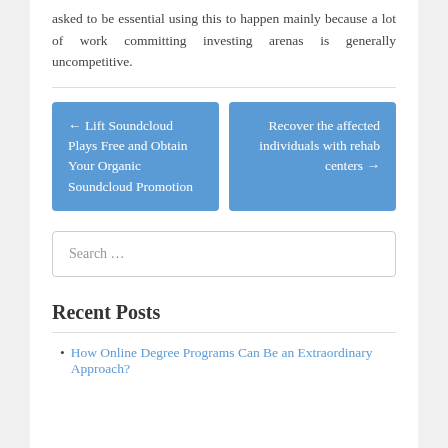asked to be essential using this to happen mainly because a lot of work committing investing arenas is generally uncompetitive.
← Lift Soundcloud Plays Free and Obtain Your Organic Soundcloud Promotion
Recover the affected individuals with rehab centers →
Search …
Recent Posts
How Online Degree Programs Can Be an Extraordinary Approach?